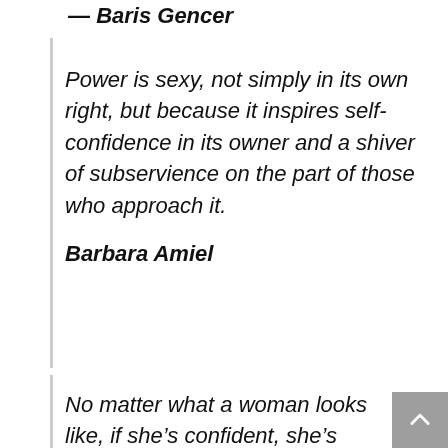— Baris Gencer
Power is sexy, not simply in its own right, but because it inspires self-confidence in its owner and a shiver of subservience on the part of those who approach it.
Barbara Amiel
No matter what a woman looks like, if she's confident, she's sexy.